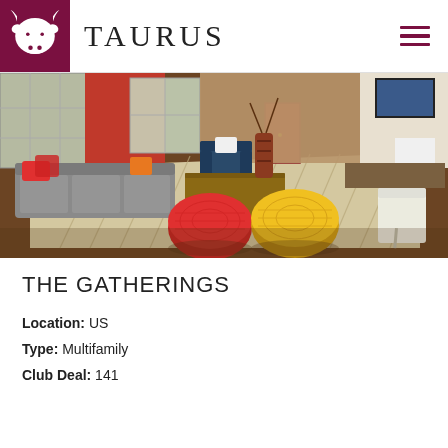TAURUS
[Figure (photo): Interior photo of a modern apartment clubroom/lounge with colorful poufs (red and yellow), a grey sofa, patterned rug, hardwood floors, red accent walls, and a TV mounted on the wall.]
THE GATHERINGS
Location: US
Type: Multifamily
Club Deal: 141